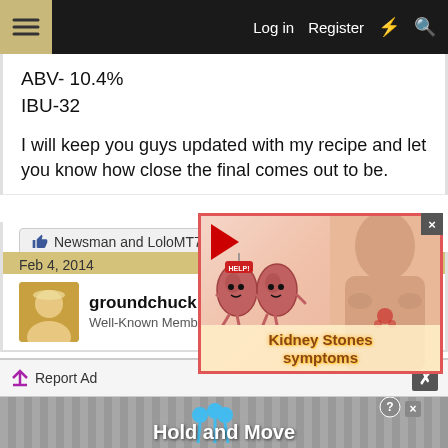Log in  Register
ABV- 10.4%
IBU-32
I will keep you guys updated with my recipe and let you know how close the final comes out to be.
Newsman and LoloMT7
Feb 4, 2014
groundchuck
Well-Known Member
[Figure (illustration): Ad popup showing cartoon kidneys with a 'HELP!' sign and a person holding their back, with text 'Kidney Stones symptoms']
Report Ad
[Figure (illustration): Bottom banner ad showing 'Hold and Move' with cartoon figures and gym equipment background]